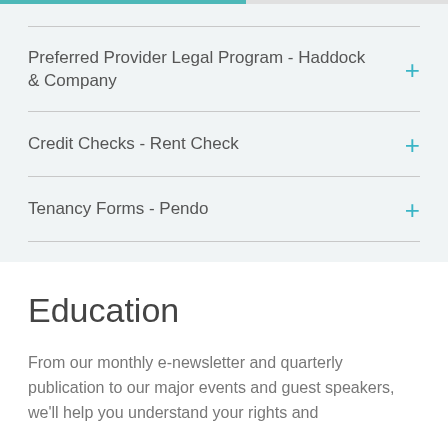Preferred Provider Legal Program - Haddock & Company
Credit Checks - Rent Check
Tenancy Forms - Pendo
Education
From our monthly e-newsletter and quarterly publication to our major events and guest speakers, we'll help you understand your rights and